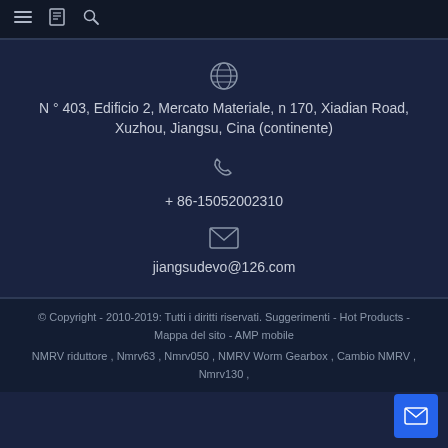≡ 📖 🔍
N ° 403, Edificio 2, Mercato Materiale, n 170, Xiadian Road, Xuzhou, Jiangsu, Cina (continente)
+ 86-15052002310
jiangsudevo@126.com
© Copyright - 2010-2019: Tutti i diritti riservati. Suggerimenti - Hot Products - Mappa del sito - AMP mobile NMRV riduttore , Nmrv63 , Nmrv050 , NMRV Worm Gearbox , Cambio NMRV , Nmrv130 ,